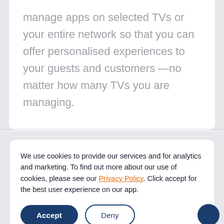manage apps on selected TVs or your entire network so that you can offer personalised experiences to your guests and customers —no matter how many TVs you are managing.
We use cookies to provide our services and for analytics and marketing. To find out more about our use of cookies, please see our Privacy Policy. Click accept for the best user experience on our app.